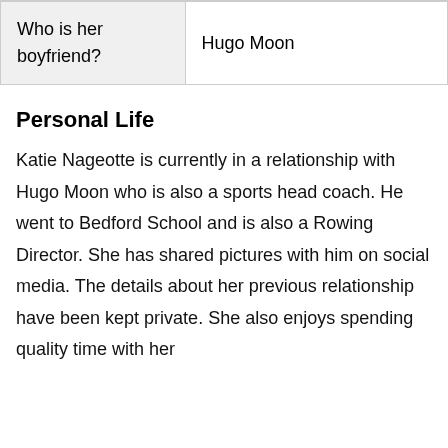| Who is her boyfriend? | Hugo Moon |
Personal Life
Katie Nageotte is currently in a relationship with Hugo Moon who is also a sports head coach. He went to Bedford School and is also a Rowing Director. She has shared pictures with him on social media. The details about her previous relationship have been kept private. She also enjoys spending quality time with her